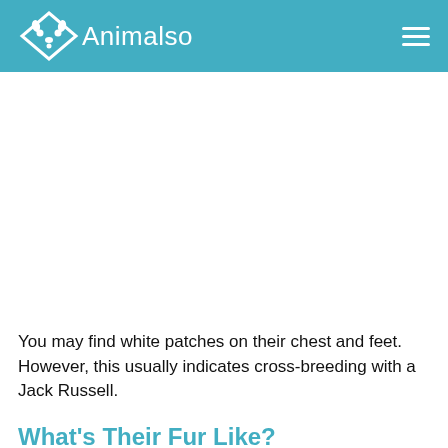Animalso
You may find white patches on their chest and feet. However, this usually indicates cross-breeding with a Jack Russell.
What's Their Fur Like?